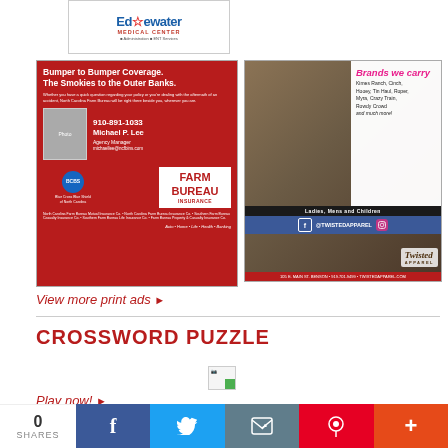[Figure (photo): Edgewater Medical Center advertisement with logo and contact info]
[Figure (photo): North Carolina Farm Bureau Insurance ad featuring Michael P. Lee, Agency Manager, phone 910-891-1033, email michaellee@ncfbins.com. Headline: Bumper to Bumper Coverage. The Smokies to the Outer Banks.]
[Figure (photo): Twisted Apparel advertisement showing woman in western wear. Brands we carry: Kimes Ranch, Cinch, Hooey, Tin Haul, Roper, Myra, Crazy Train, Rowdy Crowd and much more! Ladies, Mens and Children. @TWISTEDAPPAREL on Facebook and Instagram. 105 E. Main St. Benson • 919.701.9499 • TWISTEDAPPAREL.COM]
View more print ads ▶
CROSSWORD PUZZLE
[Figure (other): Broken/loading crossword puzzle image]
Play now! ▶
0 SHARES | Facebook | Twitter | Email | Pinterest | More